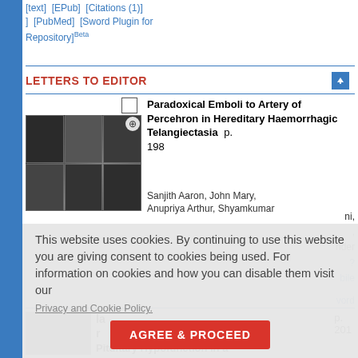[text]  [EPub]  [Citations (1)]  [PubMed]  [Sword Plugin for Repository]Beta
LETTERS TO EDITOR
[Figure (photo): Medical brain scan images showing CT/MRI slices in a 3x2 grid layout with a zoom icon overlay]
Paradoxical Emboli to Artery of Percehron in Hereditary Haemorrhagic Telangiectasia
Sanjith Aaron, John Mary, Anupriya Arthur, Shyamkumar
p. 198
This website uses cookies. By continuing to use this website you are giving consent to cookies being used. For information on cookies and how you can disable them visit our
Privacy and Cookie Policy.
AGREE & PROCEED
p. 201
Pituitary Hypofunction in a Patient Presenting for